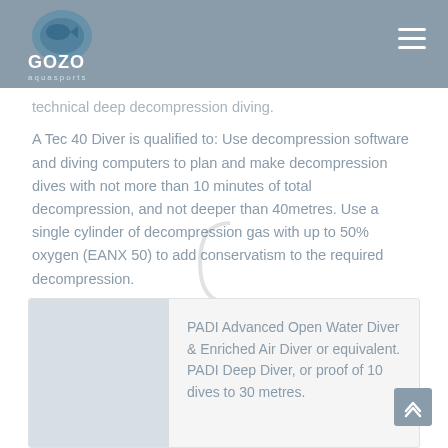GOZO aquasports
technical deep decompression diving.
A Tec 40 Diver is qualified to: Use decompression software and diving computers to plan and make decompression dives with not more than 10 minutes of total decompression, and not deeper than 40metres. Use a single cylinder of decompression gas with up to 50% oxygen (EANX 50) to add conservatism to the required decompression.
PADI Advanced Open Water Diver & Enriched Air Diver or equivalent. PADI Deep Diver, or proof of 10 dives to 30 metres.